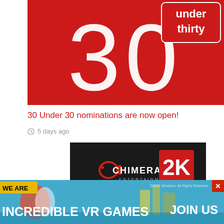[Figure (photo): Red background image with large white '30' numeral and 'under thirty' text in white on red badge/circle design]
30 Under 30 nominations are now open!
5 days ago
[Figure (logo): Chimera Entertainment logo with red dragon/fish icon on dark background alongside 2K red square logo]
[Figure (infographic): Advertisement banner: WE ARE INCREDIBLE VR GAMES - JOIN US, with colorful VR/city game imagery background]